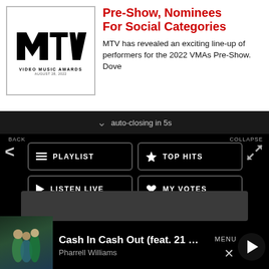[Figure (screenshot): MTV Video Music Awards logo with text 'VIDEO MUSIC AWARDS' and date 'AUGUST 28, 2022']
Pre-Show, Nominees For Social Categories
MTV has revealed an exciting line-up of performers for the 2022 VMAs Pre-Show. Dove
auto-closing in 5s
BACK
COLLAPSE
PLAYLIST
TOP HITS
LISTEN LIVE
MY VOTES
CONTROLS
Data opt-out
Cash In Cash Out (feat. 21 Sav...
Pharrell Williams
MENU